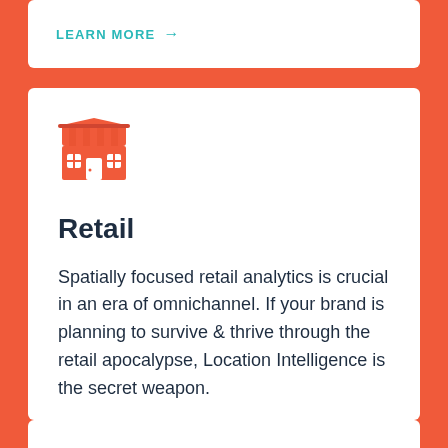LEARN MORE →
[Figure (illustration): Orange retail store / shop icon showing a storefront with awning stripes, display windows, and a central door]
Retail
Spatially focused retail analytics is crucial in an era of omnichannel. If your brand is planning to survive & thrive through the retail apocalypse, Location Intelligence is the secret weapon.
LEARN MORE →